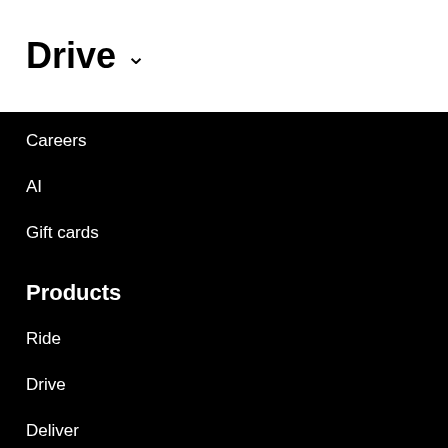Drive
Careers
AI
Gift cards
Products
Ride
Drive
Deliver
Eat
Uber for Business